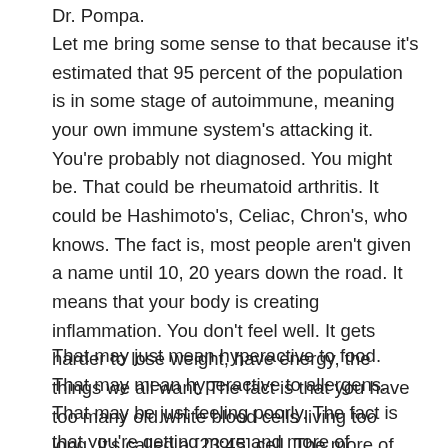Dr. Pompa.
Let me bring some sense to that because it's estimated that 95 percent of the population is in some stage of autoimmune, meaning your own immune system's attacking it. You're probably not diagnosed. You might be. That could be rheumatoid arthritis. It could be Hashimoto's, Celiac, Chron's, who knows. The fact is, most people aren't given a name until 10, 20 years down the road. It means that your body is creating inflammation. You don't feel well. It gets harder to lose weight, have energy, the things we all want. The fact is that you have too many old white blood cells living too long. It's called a [23:45] cell. The more of these you get, the more hyperactive immunity you get.
That may just mean hyperactive to food. That may mean hyperactive to allergens. That may be just feeling poorly. The fact is that you're getting more and more of